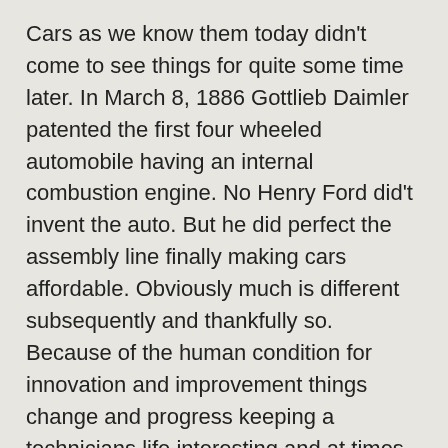Cars as we know them today didn't come to see things for quite some time later. In March 8, 1886 Gottlieb Daimler patented the first four wheeled automobile having an internal combustion engine. No Henry Ford did't invent the auto. But he did perfect the assembly line finally making cars affordable. Obviously much is different subsequently and thankfully so. Because of the human condition for innovation and improvement things change and progress keeping a technicians life interesting and at times frustrating.
Ok, back to the vehicle. Here is the DIY auto repair fix for this concern. Drive your car or truck to some flat level destination for a jack it safely. Use blocks in-front and behind of both your tires on the opposite side from where you happen to be jacking. Raise the automobile and make use of jack stands to support it